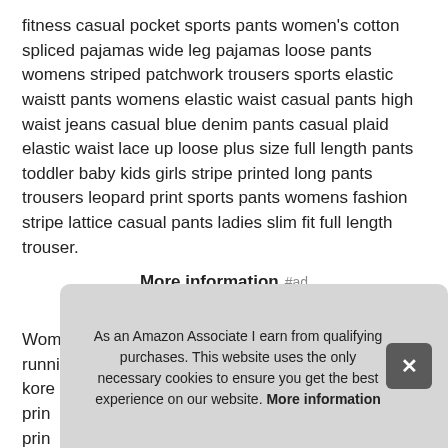fitness casual pocket sports pants women's cotton spliced pajamas wide leg pajamas loose pants womens striped patchwork trousers sports elastic waistt pants womens elastic waist casual pants high waist jeans casual blue denim pants casual plaid elastic waist lace up loose plus size full length pants toddler baby kids girls stripe printed long pants trousers leopard print sports pants womens fashion stripe lattice casual pants ladies slim fit full length trouser.
More information #ad
Women's workout leggings fitness sports gym running yoga athl... kore... prin... prin... eas...
As an Amazon Associate I earn from qualifying purchases. This website uses the only necessary cookies to ensure you get the best experience on our website. More information